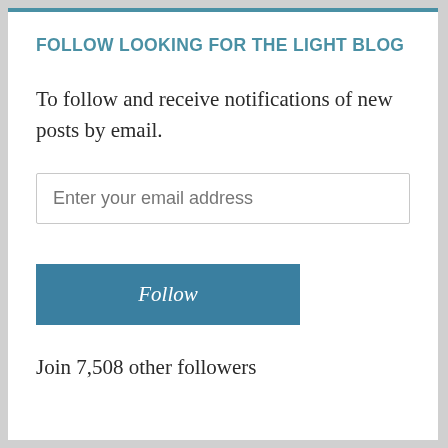FOLLOW LOOKING FOR THE LIGHT BLOG
To follow and receive notifications of new posts by email.
Enter your email address
Follow
Join 7,508 other followers